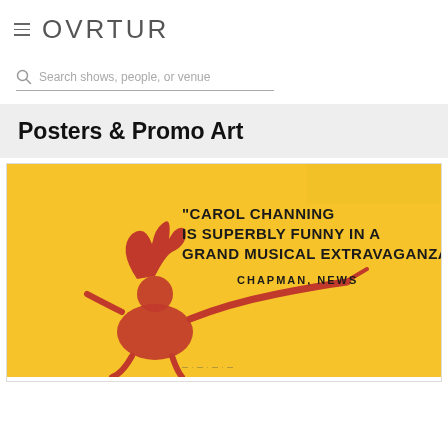OVRTUR
Search shows, people, or venue
Posters & Promo Art
[Figure (photo): Vintage theatrical poster with yellow background featuring a red illustrated cartoon figure of a performer. Bold black text reads: "CAROL CHANNING IS SUPERBLY FUNNY IN A GRAND MUSICAL EXTRAVAGANZA" with attribution CHAPMAN, NEWS below.]